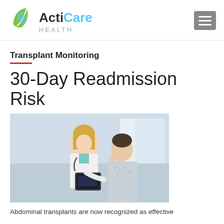[Figure (logo): ActiCare Health logo with green leaf icon and blue/green text]
Transplant Monitoring
30-Day Readmission Risk
[Figure (photo): A female doctor in a white coat showing a tablet screen to a male patient in a hospital gown]
Abdominal transplants are now recognized as effective